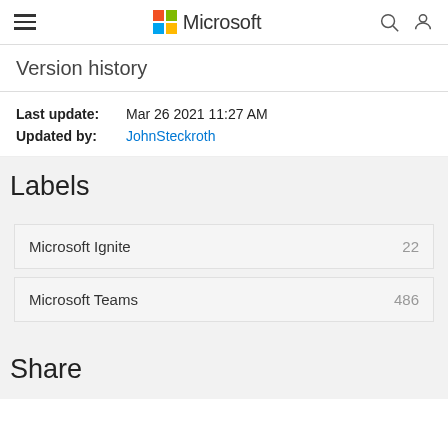Microsoft
Version history
Last update: Mar 26 2021 11:27 AM
Updated by: JohnSteckroth
Labels
Microsoft Ignite  22
Microsoft Teams  486
Share